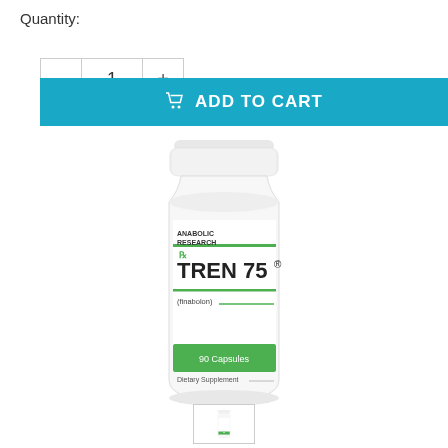Quantity:
[Figure (screenshot): E-commerce quantity selector with minus (-), value (1), and plus (+) buttons, followed by a teal 'ADD TO CART' button with cart icon]
[Figure (photo): White supplement bottle with label: Anabolic Research Rx, TREN 75® (finabolon), 90 Capsules, Dietary Supplement]
[Figure (photo): Small thumbnail image of the same bottle at the bottom of the page]